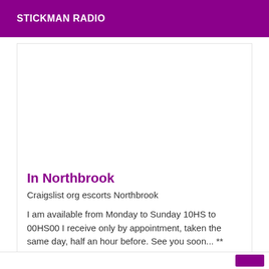STICKMAN RADIO
In Northbrook
Craigslist org escorts Northbrook
I am available from Monday to Sunday 10HS to 00HS00 I receive only by appointment, taken the same day, half an hour before. See you soon... ** kisses kisses